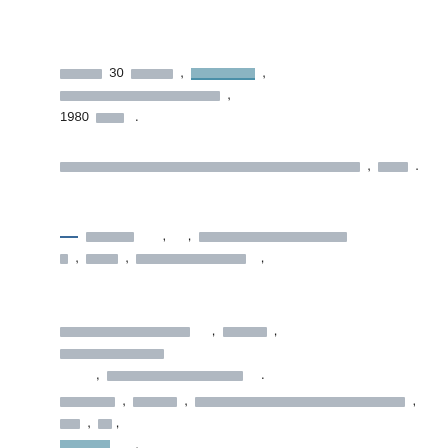[Redacted text block 1 - appears to be article text in a non-Latin script with year 1980 visible]
[Redacted text block 2]
[Redacted text block 3 with underlined link element]
[Redacted text block 4]
[Redacted text block 5 with underlined link element]
But Dr Ross said a lot of assumptions about rocket launches’ emissions and pollutants are based on models rather than actual measurements.